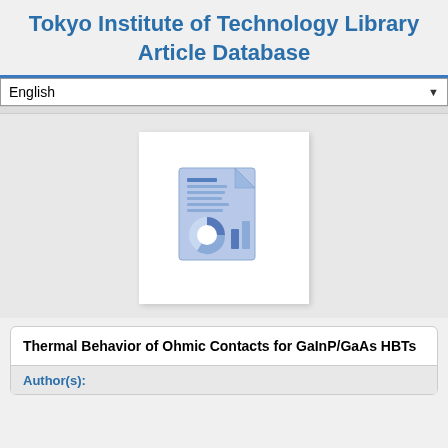Tokyo Institute of Technology Library Article Database
English
[Figure (illustration): Document/report icon with pie chart and bar chart graphics, in blue tones]
Thermal Behavior of Ohmic Contacts for GaInP/GaAs HBTs
Author(s):